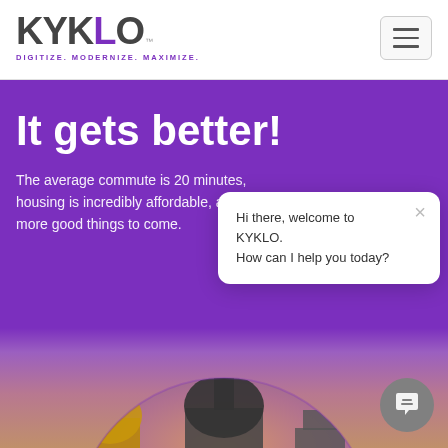KYKLO — DIGITIZE. MODERNIZE. MAXIMIZE.
It gets better!
The average commute is 20 minutes, housing is incredibly affordable, and more good things to come.
Hi there, welcome to KYKLO.
How can I help you today?
[Figure (photo): City skyline with ornate buildings at dusk, shown in a circular crop at the bottom of the page]